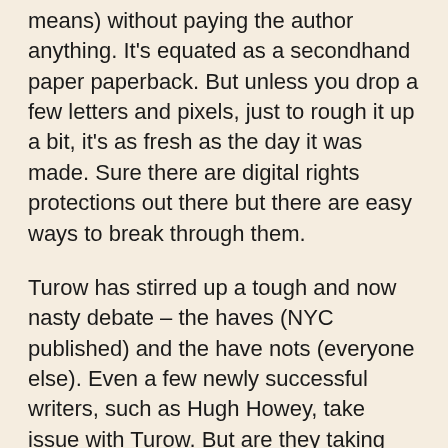means) without paying the author anything. It's equated as a secondhand paper paperback. But unless you drop a few letters and pixels, just to rough it up a bit, it's as fresh as the day it was made. Sure there are digital rights protections out there but there are easy ways to break through them.
Turow has stirred up a tough and now nasty debate – the haves (NYC published) and the have nots (everyone else). Even a few newly successful writers, such as Hugh Howey, take issue with Turow. But are they taking issue with the industry or Turow? Howey demanded and kept control of his ebook rights.
We writers need these portals, Amazon, Kobo, Smashwords, Google, iBooks, and others that allow our works to reach the public. Yet there is an implicit promise that must be met that you will do no harm to the author. Our products are real and sacred, you must respect the work and the copyright. It is the